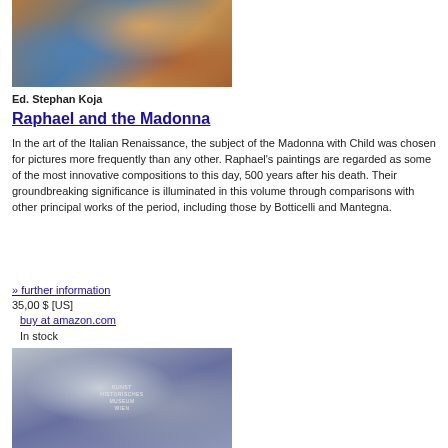[Figure (photo): Close-up detail of a Renaissance painting showing Madonna with Child, warm earth tones and blue drapery]
Ed. Stephan Koja
Raphael and the Madonna
In the art of the Italian Renaissance, the subject of the Madonna with Child was chosen for pictures more frequently than any other. Raphael's paintings are regarded as some of the most innovative compositions to this day, 500 years after his death. Their groundbreaking significance is illuminated in this volume through comparisons with other principal works of the period, including those by Botticelli and Mantegna.
» further information
35,00 $ [US]
buy at amazon.com
In stock
[Figure (photo): Book cover showing a painting with grey-blue tones, with Kunsthistorisches Museum Wien text overlay]